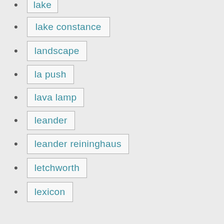lake
lake constance
landscape
la push
lava lamp
leander
leander reininghaus
letchworth
lexicon